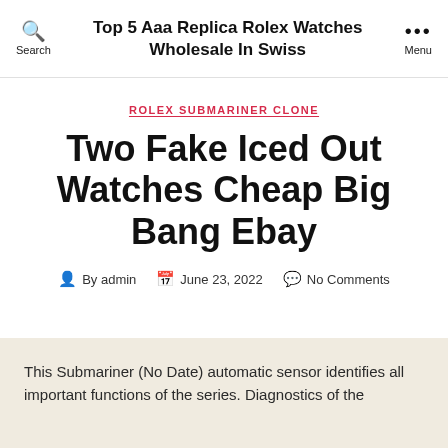Top 5 Aaa Replica Rolex Watches Wholesale In Swiss
ROLEX SUBMARINER CLONE
Two Fake Iced Out Watches Cheap Big Bang Ebay
By admin   June 23, 2022   No Comments
This Submariner (No Date) automatic sensor identifies all important functions of the series. Diagnostics of the